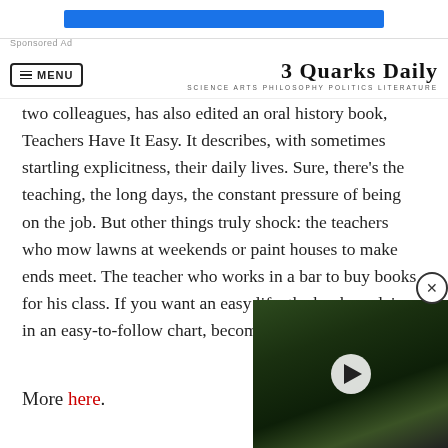Sponsored Ad
3 Quarks Daily — SCIENCE ARTS PHILOSOPHY POLITICS LITERATURE
two colleagues, has also edited an oral history book, Teachers Have It Easy. It describes, with sometimes startling explicitness, their daily lives. Sure, there's the teaching, the long days, the constant pressure of being on the job. But other things truly shock: the teachers who mow lawns at weekends or paint houses to make ends meet. The teacher who works in a bar to buy books for his class. If you want an easy life, the book explains in an easy-to-follow chart, become a pharmaceutica
More here.
[Figure (photo): Video thumbnail showing a forest path with a thatched-roof structure, with a white play button overlay]